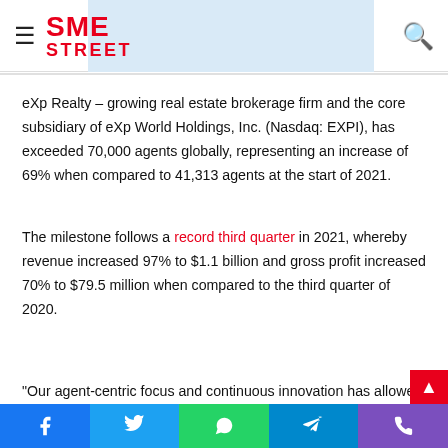SME STREET
eXp Realty – growing real estate brokerage firm and the core subsidiary of eXp World Holdings, Inc. (Nasdaq: EXPI), has exceeded 70,000 agents globally, representing an increase of 69% when compared to 41,313 agents at the start of 2021.
The milestone follows a record third quarter in 2021, whereby revenue increased 97% to $1.1 billion and gross profit increased 70% to $79.5 million when compared to the third quarter of 2020.
“Our agent-centric focus and continuous innovation has allowed us to continue adding real estate agents to the eXp Realty
Facebook Twitter WhatsApp Telegram Phone